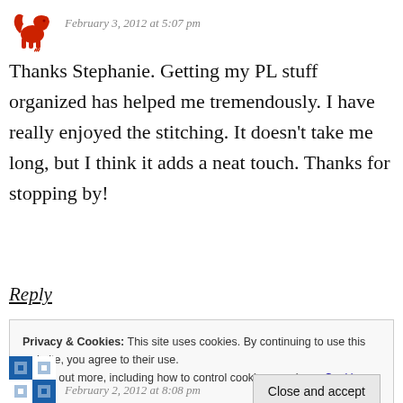February 3, 2012 at 5:07 pm
Thanks Stephanie. Getting my PL stuff organized has helped me tremendously. I have really enjoyed the stitching. It doesn't take me long, but I think it adds a neat touch. Thanks for stopping by!
Reply
Privacy & Cookies: This site uses cookies. By continuing to use this website, you agree to their use. To find out more, including how to control cookies, see here: Cookie Policy
Close and accept
February 2, 2012 at 8:08 pm